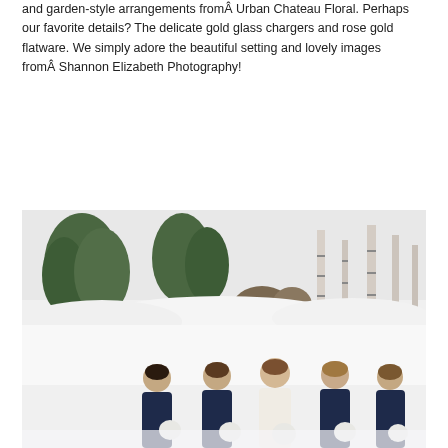and garden-style arrangements from Urban Chateau Floral. Perhaps our favorite details? The delicate gold glass chargers and rose gold flatware. We simply adore the beautiful setting and lovely images from Shannon Elizabeth Photography!
SEE IT
[Figure (photo): Outdoor winter wedding party photo: a bride in white dress surrounded by four bridesmaids in navy blue lace dresses, all holding white bouquets, standing in a snowy landscape with birch trees and evergreens in the background.]